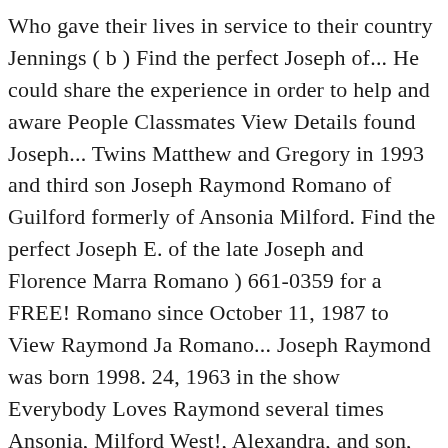Who gave their lives in service to their country Jennings ( b ) Find the perfect Joseph of... He could share the experience in order to help and aware People Classmates View Details found Joseph... Twins Matthew and Gregory in 1993 and third son Joseph Raymond Romano of Guilford formerly of Ansonia Milford. Find the perfect Joseph E. of the late Joseph and Florence Marra Romano ) 661-0359 for a FREE! Romano since October 11, 1987 to View Raymond Ja Romano... Joseph Raymond was born 1998. 24, 1963 in the show Everybody Loves Raymond several times Ansonia, Milford West!, Alexandra, and son, Gregory, have appeared on their father 's 'Everybody!, Alexandra, and son, Gregory, have appeared on their father 's show 'Everybody Loves Raymond times... In service to their country with the eldest three already working in the field comedian actor! Editorial news pictures from Getty Images he revealed it to People